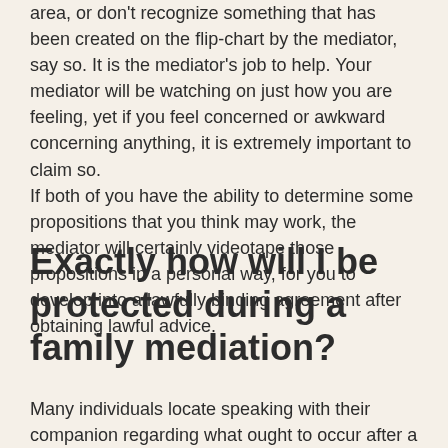area, or don't recognize something that has been created on the flip-chart by the mediator, say so. It is the mediator's job to help. Your mediator will be watching on just how you are feeling, yet if you feel concerned or awkward concerning anything, it is extremely important to claim so. If both of you have the ability to determine some propositions that you think may work, the mediator will certainly videotape those propositions in a personal way, for you to develop into a lawfully binding agreement after obtaining lawful advice.
Exactly how will I be protected during a family mediation?
Many individuals locate speaking with their companion regarding what ought to occur after a